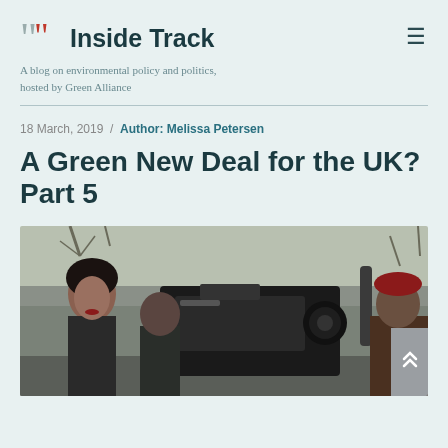Inside Track — A blog on environmental policy and politics, hosted by Green Alliance
18 March, 2019 / Author: Melissa Petersen
A Green New Deal for the UK? Part 5
[Figure (photo): A woman being filmed by a camera operator outdoors, with bare winter trees in the background. Press or documentary filming scene.]